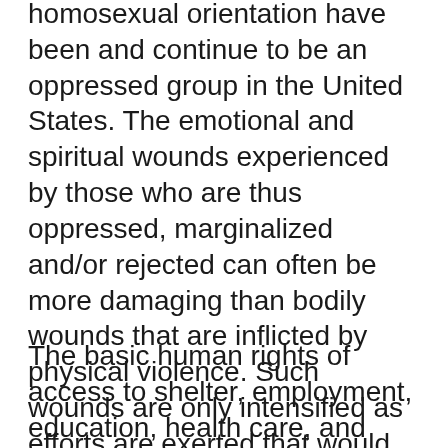homosexual orientation have been and continue to be an oppressed group in the United States. The emotional and spiritual wounds experienced by those who are thus oppressed, marginalized and/or rejected can often be more damaging than bodily wounds that are inflicted by physical violence. Such wounds are only intensified as efforts are exerted that would deny to this group of people their basic human rights. Fears resulting from the current aids crisis have exacerbated this reality.
The basic human rights of access to shelter, employment, education, health care, and freedom of movement are rights given to all by